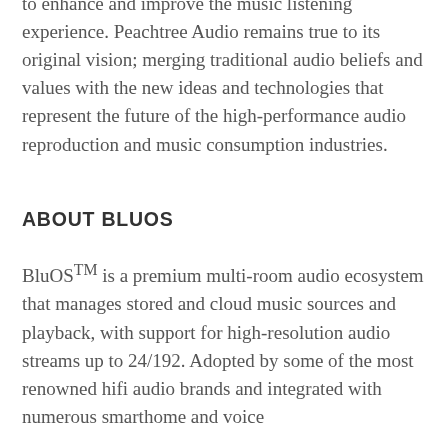to enhance and improve the music listening experience. Peachtree Audio remains true to its original vision; merging traditional audio beliefs and values with the new ideas and technologies that represent the future of the high-performance audio reproduction and music consumption industries.
ABOUT BLUOS
BluOSTM is a premium multi-room audio ecosystem that manages stored and cloud music sources and playback, with support for high-resolution audio streams up to 24/192. Adopted by some of the most renowned hifi audio brands and integrated with numerous smarthome and voice